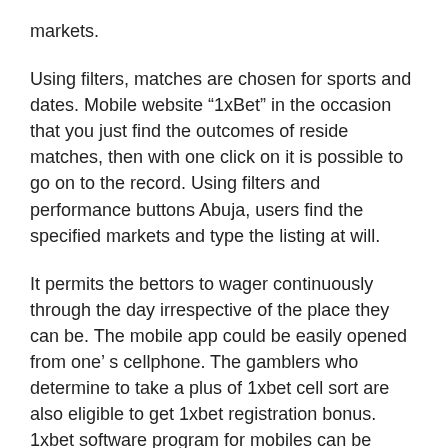markets.
Using filters, matches are chosen for sports and dates. Mobile website “1xBet” in the occasion that you just find the outcomes of reside matches, then with one click on it is possible to go on to the record. Using filters and performance buttons Abuja, users find the specified markets and type the listing at will.
It permits the bettors to wager continuously through the day irrespective of the place they can be. The mobile app could be easily opened from one’ s cellphone. The gamblers who determine to take a plus of 1xbet cell sort are also eligible to get 1xbet registration bonus. 1xbet software program for mobiles can be downloaded coming from two locations. This online store all the time has an up to date model of 1xbet mobile app for google android.